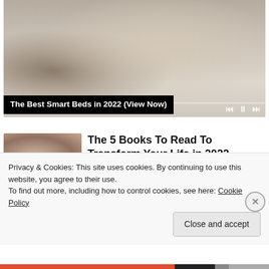[Figure (photo): A multifunctional smart bed with storage drawers, reclining chair attachment, speakers, and various features displayed in an open configuration. Video player controls visible at bottom with progress bar.]
The Best Smart Beds in 2022 (View Now)
[Figure (photo): Thumbnail image of a person (child or young person) with braided hair, used as article thumbnail.]
The 5 Books To Read To Transform Your Life in 2022
Privacy & Cookies: This site uses cookies. By continuing to use this website, you agree to their use.
To find out more, including how to control cookies, see here: Cookie Policy